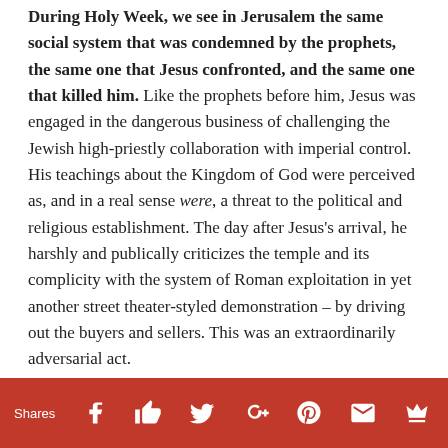During Holy Week, we see in Jerusalem the same social system that was condemned by the prophets, the same one that Jesus confronted, and the same one that killed him. Like the prophets before him, Jesus was engaged in the dangerous business of challenging the Jewish high-priestly collaboration with imperial control. His teachings about the Kingdom of God were perceived as, and in a real sense were, a threat to the political and religious establishment. The day after Jesus's arrival, he harshly and publically criticizes the temple and its complicity with the system of Roman exploitation in yet another street theater-styled demonstration – by driving out the buyers and sellers. This was an extraordinarily adversarial act.
Shares [social share icons: Facebook, Thumbs-up, Twitter, Google+, Pinterest, Email, Crown/bookmark]